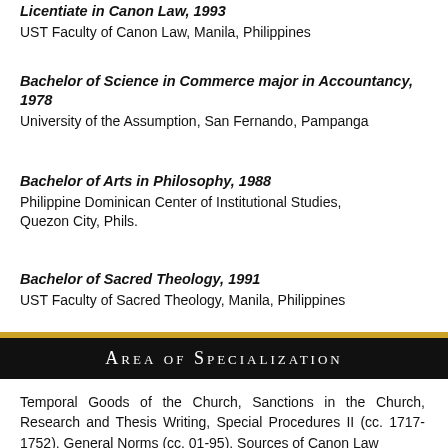Licentiate in Canon Law, 1993
UST Faculty of Canon Law, Manila, Philippines
Bachelor of Science in Commerce major in Accountancy, 1978
University of the Assumption, San Fernando, Pampanga
Bachelor of Arts in Philosophy, 1988
Philippine Dominican Center of Institutional Studies, Quezon City, Phils.
Bachelor of Sacred Theology, 1991
UST Faculty of Sacred Theology, Manila, Philippines
Area of Specialization
Temporal Goods of the Church, Sanctions in the Church, Research and Thesis Writing, Special Procedures II (cc. 1717-1752), General Norms (cc. 01-95), Sources of Canon Law